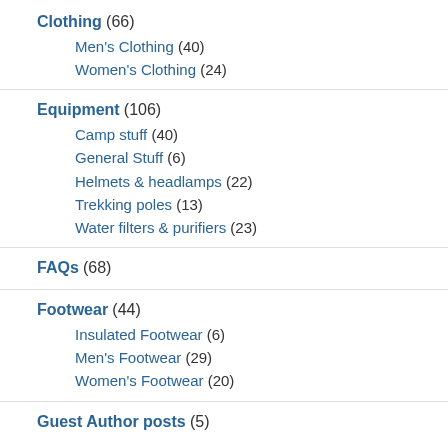Clothing (66)
Men's Clothing (40)
Women's Clothing (24)
Equipment (106)
Camp stuff (40)
General Stuff (6)
Helmets & headlamps (22)
Trekking poles (13)
Water filters & purifiers (23)
FAQs (68)
Footwear (44)
Insulated Footwear (6)
Men's Footwear (29)
Women's Footwear (20)
Guest Author posts (5)